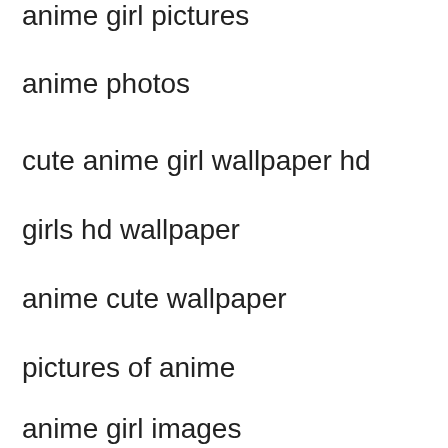anime girl pictures
anime photos
cute anime girl wallpaper hd
girls hd wallpaper
anime cute wallpaper
pictures of anime
anime girl images